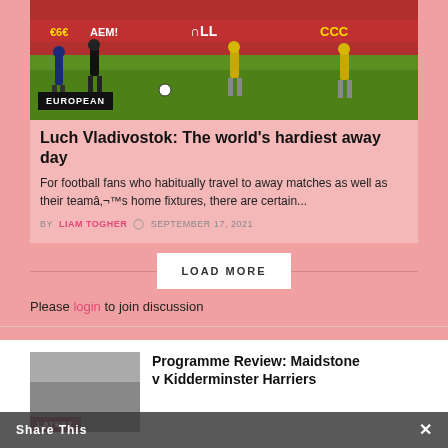[Figure (photo): Football/soccer match photo showing players on a green field with red advertising boards in background, with a black EUROPEAN category badge overlay]
Luch Vladivostok: The world's hardiest away day
For football fans who habitually travel to away matches as well as their teamâ€™s home fixtures, there are certain...
BY LIAM TOGHER  SEPTEMBER 17, 2021
LOAD MORE
Please login to join discussion
[Figure (photo): Thumbnail image with LATEST badge for Programme Review article]
Programme Review: Maidstone v Kidderminster Harriers